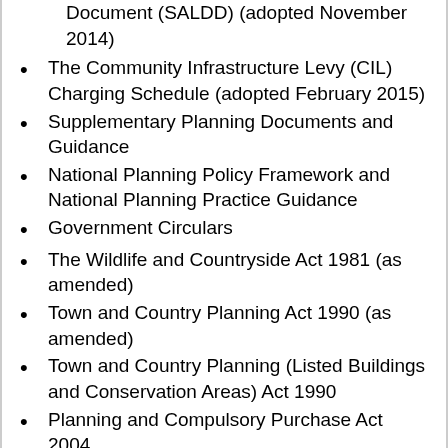Document (SALDD) (adopted November 2014)
The Community Infrastructure Levy (CIL) Charging Schedule (adopted February 2015)
Supplementary Planning Documents and Guidance
National Planning Policy Framework and National Planning Practice Guidance
Government Circulars
The Wildlife and Countryside Act 1981 (as amended)
Town and Country Planning Act 1990 (as amended)
Town and Country Planning (Listed Buildings and Conservation Areas) Act 1990
Planning and Compulsory Purchase Act 2004